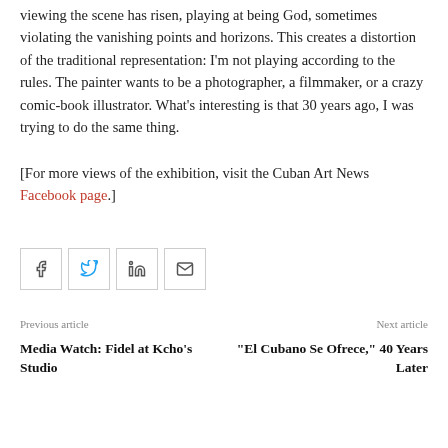viewing the scene has risen, playing at being God, sometimes violating the vanishing points and horizons. This creates a distortion of the traditional representation: I'm not playing according to the rules. The painter wants to be a photographer, a filmmaker, or a crazy comic-book illustrator. What's interesting is that 30 years ago, I was trying to do the same thing.
[For more views of the exhibition, visit the Cuban Art News Facebook page.]
[Figure (other): Four social sharing icon buttons: Facebook, Twitter, LinkedIn, Email]
Previous article
Next article
Media Watch: Fidel at Kcho's Studio
“El Cubano Se Ofrece,” 40 Years Later